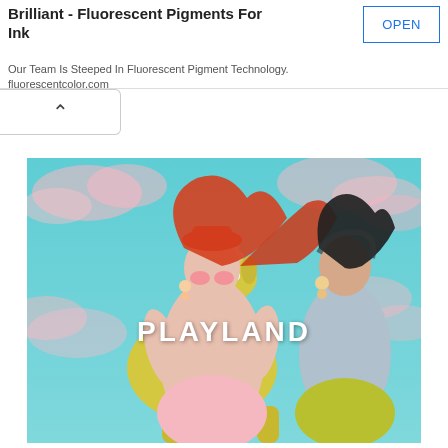Brilliant - Fluorescent Pigments For Ink
Our Team Is Steeped In Fluorescent Pigment Technology. fluorescentcolor.com
[Figure (photo): Fashion campaign photo showing two models in colorful outfits against a pastel teal sky with pink clouds. One model has flowing red hair and sits on a yellow polka-dotted giraffe toy wearing a red hat and pink outfit. The other model wears a blue-gray top and yellow-green skirt. The word PLAYLAND appears in white bold text across the middle of the image.]